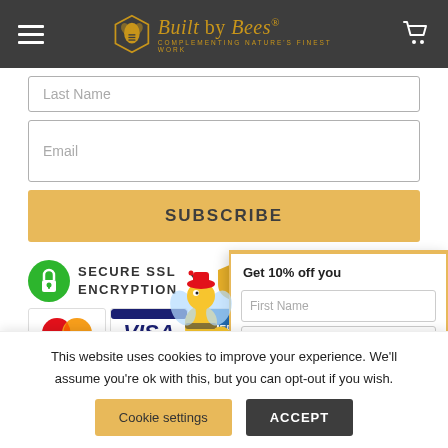Built by Bees® - Complementing Nature's Finest Work
Last Name
Email
SUBSCRIBE
[Figure (logo): Secure SSL Encryption badge with green lock icon and payment method logos (MasterCard, VISA, American Express)]
Get 10% off you
First Name
Email (send me w
This website uses cookies to improve your experience. We'll assume you're ok with this, but you can opt-out if you wish.
Cookie settings
ACCEPT